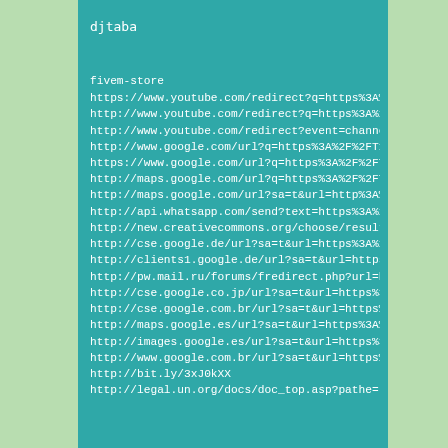djtaba
fivem-store
https://www.youtube.com/redirect?q=https%3A%2...
http://www.youtube.com/redirect?q=https%3A%2F...
http://www.youtube.com/redirect?event=channel...
http://www.google.com/url?q=https%3A%2F%2FT1M...
https://www.google.com/url?q=https%3A%2F%2FT1...
http://maps.google.com/url?q=https%3A%2F%2FT1...
http://maps.google.com/url?sa=t&url=http%3A%2...
http://api.whatsapp.com/send?text=https%3A%2F...
http://new.creativecommons.org/choose/results...
http://cse.google.de/url?sa=t&url=https%3A%2F...
http://clients1.google.de/url?sa=t&url=https%...
http://pw.mail.ru/forums/fredirect.php?url=ht...
http://cse.google.co.jp/url?sa=t&url=https%3A...
http://cse.google.com.br/url?sa=t&url=https%3...
http://maps.google.es/url?sa=t&url=https%3A%2...
http://images.google.es/url?sa=t&url=https%3A...
http://www.google.com.br/url?sa=t&url=https%3...
http://bit.ly/3xJ0kXX
http://legal.un.org/docs/doc_top.asp?pathe=...